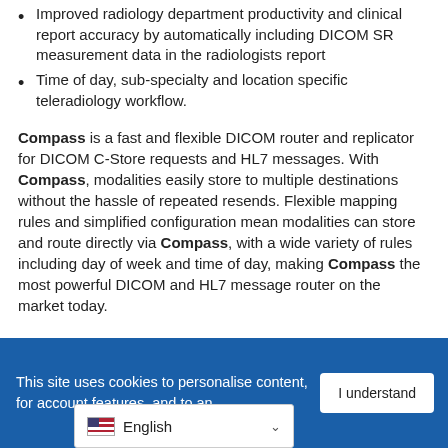Improved radiology department productivity and clinical report accuracy by automatically including DICOM SR measurement data in the radiologists report
Time of day, sub-specialty and location specific teleradiology workflow.
Compass is a fast and flexible DICOM router and replicator for DICOM C-Store requests and HL7 messages. With Compass, modalities easily store to multiple destinations without the hassle of repeated resends. Flexible mapping rules and simplified configuration mean modalities can store and route directly via Compass, with a wide variety of rules including day of week and time of day, making Compass the most powerful DICOM and HL7 message router on the market today.
This site uses cookies to personalise content, for account features, and to an...